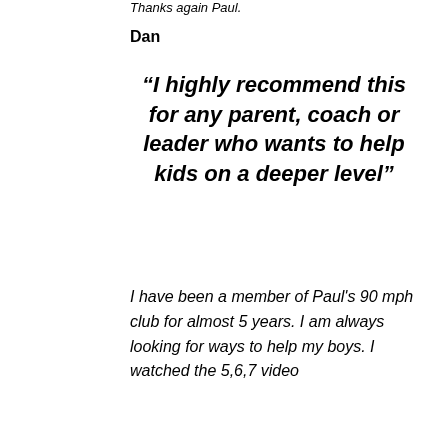Thanks again Paul.
Dan
“I highly recommend this for any parent, coach or leader who wants to help kids on a deeper level”
I have been a member of Paul's 90 mph club for almost 5 years. I am always looking for ways to help my boys. I watched the 5,6,7 video